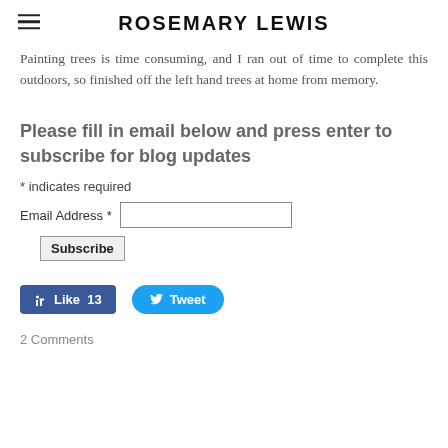ROSEMARY LEWIS
Painting trees is time consuming, and I ran out of time to complete this outdoors, so finished off the left hand trees at home from memory.
Please fill in email below and press enter to subscribe for blog updates
* indicates required
Email Address *
Subscribe
[Figure (screenshot): Facebook Like button showing 13 likes and Twitter Tweet button]
2 Comments